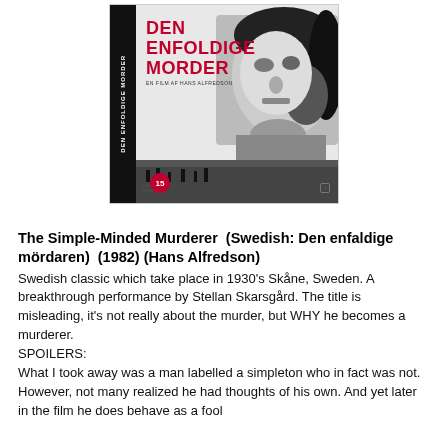[Figure (photo): DVD cover of 'Den Enfoldige Morder' showing a black and white high-contrast image of a man's face on the front, with red title text reading 'DEN ENFOLDIGE MORDER', a red age rating badge showing '15', and a dark spine with the film title.]
The Simple-Minded Murderer  (Swedish: Den enfaldige mördaren)  (1982) (Hans Alfredson)
Swedish classic which take place in 1930's Skåne, Sweden. A breakthrough performance by Stellan Skarsgård. The title is misleading, it's not really about the murder, but WHY he becomes a murderer.
SPOILERS:
What I took away was a man labelled a simpleton who in fact was not. However, not many realized he had thoughts of his own. And yet later in the film he does behave as a fool